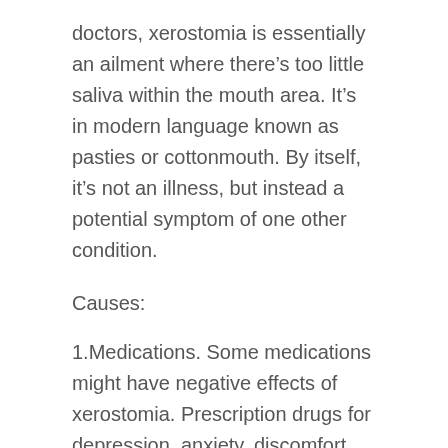doctors, xerostomia is essentially an ailment where there's too little saliva within the mouth area. It's in modern language known as pasties or cottonmouth. By itself, it's not an illness, but instead a potential symptom of one other condition.
Causes:
1.Medications. Some medications might have negative effects of xerostomia. Prescription drugs for depression, anxiety, discomfort and illicit drugs like cannabis and methamphetamines could cause xerostomia.
2.Radiotherapy. This process may modify the